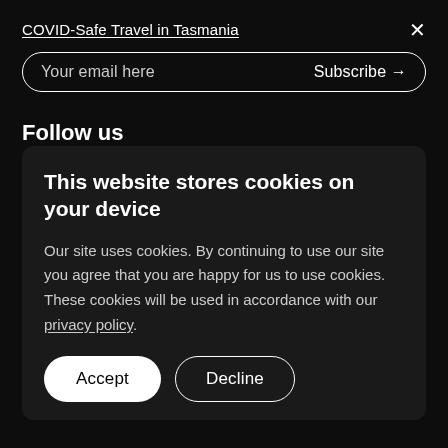COVID-Safe Travel in Tasmania
Your email here   Subscribe →
Follow us
This website stores cookies on your device
Our site uses cookies. By continuing to use our site you agree that you are happy for us to use cookies. These cookies will be used in accordance with our privacy policy.
Accept   Decline